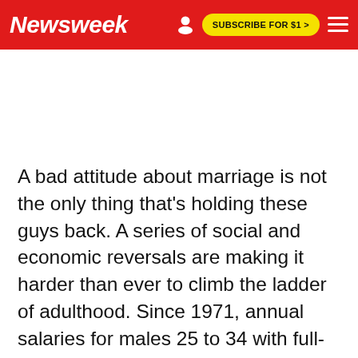Newsweek | SUBSCRIBE FOR $1 >
A bad attitude about marriage is not the only thing that's holding these guys back. A series of social and economic reversals are making it harder than ever to climb the ladder of adulthood. Since 1971, annual salaries for males 25 to 34 with full-time jobs have plummeted almost 20 percent, according to the